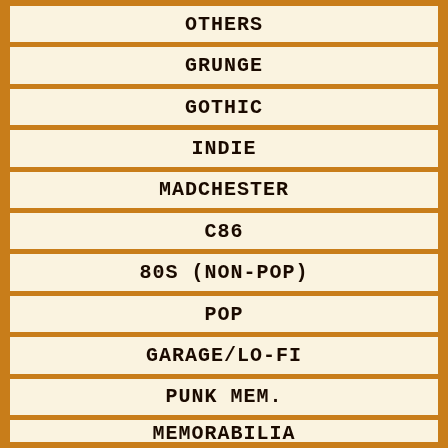OTHERS
GRUNGE
GOTHIC
INDIE
MADCHESTER
C86
80S (NON-POP)
POP
GARAGE/LO-FI
PUNK MEM.
MEMORABILIA